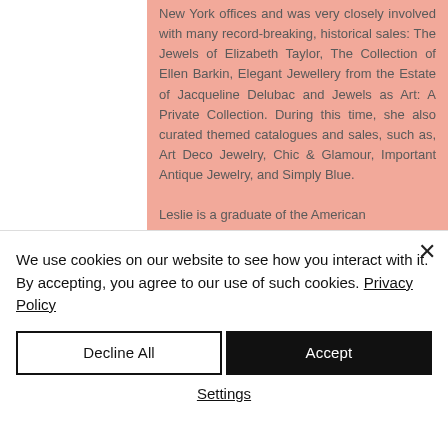New York offices and was very closely involved with many record-breaking, historical sales: The Jewels of Elizabeth Taylor, The Collection of Ellen Barkin, Elegant Jewellery from the Estate of Jacqueline Delubac and Jewels as Art: A Private Collection. During this time, she also curated themed catalogues and sales, such as, Art Deco Jewelry, Chic & Glamour, Important Antique Jewelry, and Simply Blue.

Leslie is a graduate of the American College of...
We use cookies on our website to see how you interact with it. By accepting, you agree to our use of such cookies. Privacy Policy
Decline All
Accept
Settings